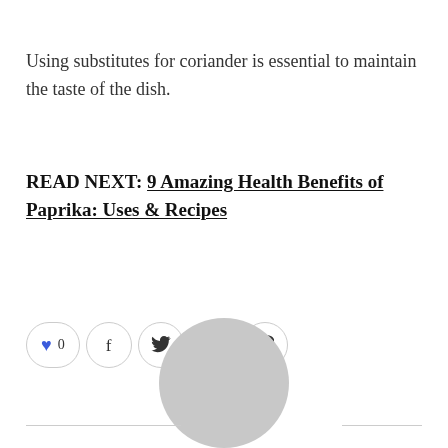Using substitutes for coriander is essential to maintain the taste of the dish.
READ NEXT: 9 Amazing Health Benefits of Paprika: Uses & Recipes
[Figure (other): Social sharing bar with heart/like button showing 0 likes, and icons for Facebook, Twitter, LinkedIn, and Pinterest]
[Figure (other): Circular avatar placeholder image (grey circle) partially visible at bottom of page]